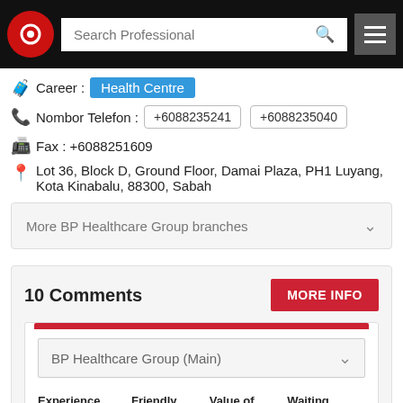[Figure (screenshot): Navigation bar with logo, search box, and menu button]
Career : Health Centre
Nombor Telefon : +6088235241  +6088235040
Fax : +6088251609
Lot 36, Block D, Ground Floor, Damai Plaza, PH1 Luyang, Kota Kinabalu, 88300, Sabah
More BP Healthcare Group branches
10 Comments
MORE INFO
BP Healthcare Group (Main)
Experience  Friendly  Value of Money  Waiting Time